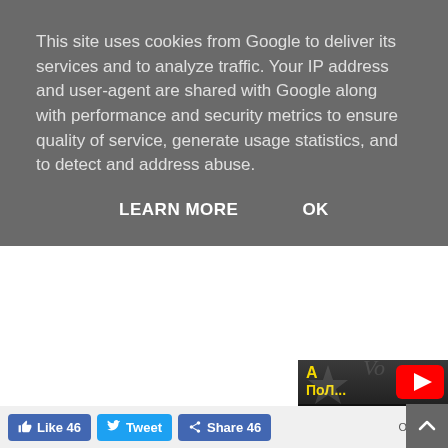This site uses cookies from Google to deliver its services and to analyze traffic. Your IP address and user-agent are shared with Google along with performance and security metrics to ensure quality of service, generate usage statistics, and to detect and address abuse.
LEARN MORE    OK
[Figure (screenshot): YouTube video thumbnail showing a person with Cyrillic text overlay 'А ПоЛ...' and YouTube play button]
Like 46   Tweet   Share 46
ΟΛΕΣ οι